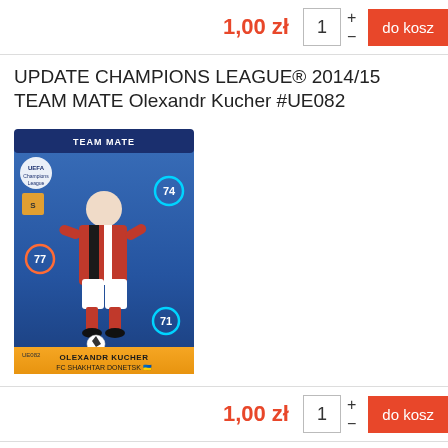1,00 zł  1  +  −  do kosz
UPDATE CHAMPIONS LEAGUE® 2014/15 TEAM MATE Olexandr Kucher #UE082
[Figure (photo): Trading card for Olexandr Kucher, FC Shakhtar Donetsk, UEFA Champions League Team Mate card #UE082 with blue background and player image]
1,00 zł  1  +  −  do kosz
UPDATE CHAMPIONS LEAGUE® 2014/15 TEAM MATE Taras Stepanenko #UE083